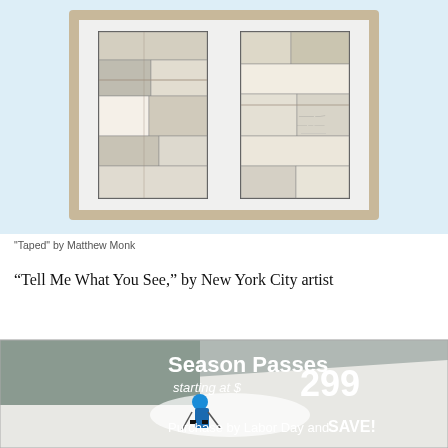[Figure (photo): A framed artwork titled 'Taped' by Matthew Monk showing two rectangular panels with patchwork of aged papers and tapes in neutral beige, gray and cream tones, displayed against a white mat in a light wood frame, set against a light blue background.]
"Taped" by Matthew Monk
“Tell Me What You See,” by New York City artist
[Figure (infographic): Advertisement banner for Season Passes starting at $299. Shows a skier on a snowy slope. Text: 'Season Passes starting at $299' and 'Purchase by Labor Day and SAVE!']